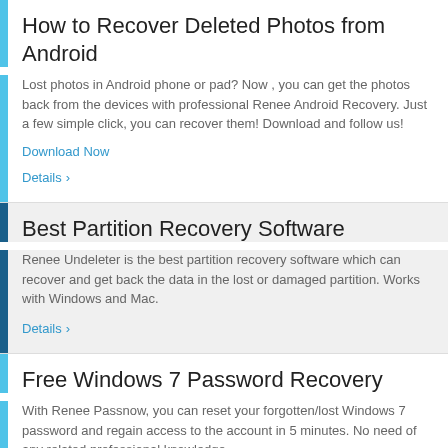How to Recover Deleted Photos from Android
Lost photos in Android phone or pad? Now , you can get the photos back from the devices with professional Renee Android Recovery. Just a few simple click, you can recover them! Download and follow us!
Download Now
Details >
Best Partition Recovery Software
Renee Undeleter is the best partition recovery software which can recover and get back the data in the lost or damaged partition. Works with Windows and Mac.
Details >
Free Windows 7 Password Recovery
With Renee Passnow, you can reset your forgotten/lost Windows 7 password and regain access to the account in 5 minutes. No need of any related professional knowledge